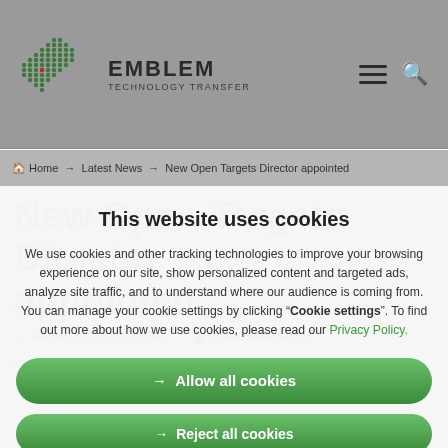[Figure (logo): Emblem Technology Transfer logo with green dot-pattern hexagonal logo mark and text 'EMBLEM TECHNOLOGY TRANSFER']
Home → Latest News → New Open Targets Director appointed
This website uses cookies
We use cookies and other tracking technologies to improve your browsing experience on our site, show personalized content and targeted ads, analyze site traffic, and to understand where our audience is coming from. You can manage your cookie settings by clicking "Cookie settings". To find out more about how we use cookies, please read our Privacy Policy.
→ Allow all cookies
→ Reject all cookies